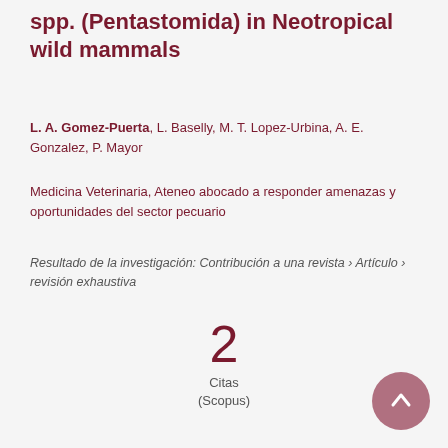spp. (Pentastomida) in Neotropical wild mammals
L. A. Gomez-Puerta, L. Baselly, M. T. Lopez-Urbina, A. E. Gonzalez, P. Mayor
Medicina Veterinaria, Ateneo abocado a responder amenazas y oportunidades del sector pecuario
Resultado de la investigación: Contribución a una revista › Artículo › revisión exhaustiva
2
Citas
(Scopus)